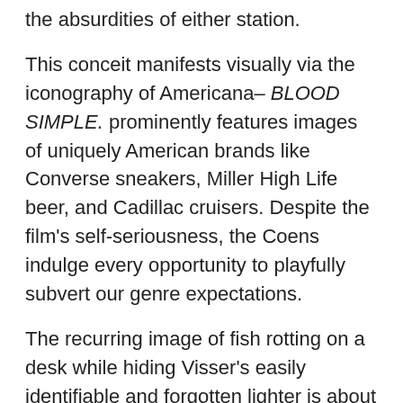the absurdities of either station.
This conceit manifests visually via the iconography of Americana– BLOOD SIMPLE. prominently features images of uniquely American brands like Converse sneakers, Miller High Life beer, and Cadillac cruisers. Despite the film's self-seriousness, the Coens indulge every opportunity to playfully subvert our genre expectations.
The recurring image of fish rotting on a desk while hiding Visser's easily identifiable and forgotten lighter is about as literal as red herrings come.  BLOOD SIMPLE. plays like an early version of the Coens' Oscar-winning masterpiece, NO COUNTRY FOR OLD MEN— both films are sparse on dialogue, and heavy on atmosphere.